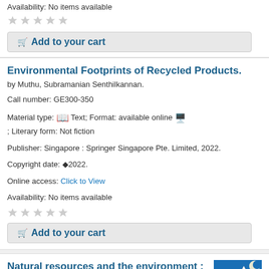Availability: No items available
[Figure (other): Five empty grey stars rating widget]
Add to your cart
Environmental Footprints of Recycled Products.
by Muthu, Subramanian Senthilkannan.
Call number: GE300-350
Material type: Text; Format: available online ; Literary form: Not fiction
Publisher: Singapore : Springer Singapore Pte. Limited, 2022.
Copyright date: ©2022.
Online access: Click to View
Availability: No items available
[Figure (other): Five empty grey stars rating widget]
Add to your cart
Natural resources and the environment : economics,